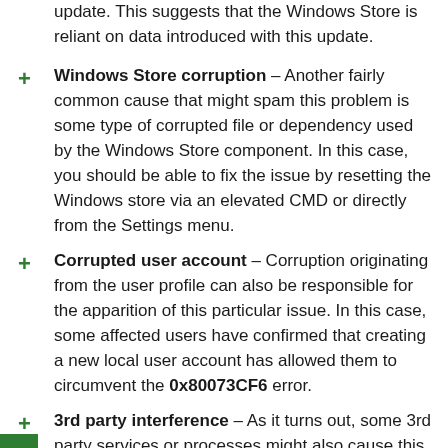update. This suggests that the Windows Store is reliant on data introduced with this update.
Windows Store corruption – Another fairly common cause that might spam this problem is some type of corrupted file or dependency used by the Windows Store component. In this case, you should be able to fix the issue by resetting the Windows store via an elevated CMD or directly from the Settings menu.
Corrupted user account – Corruption originating from the user profile can also be responsible for the apparition of this particular issue. In this case, some affected users have confirmed that creating a new local user account has allowed them to circumvent the 0x80073CF6 error.
3rd party interference – As it turns out, some 3rd party services or processes might also cause this problem. Since there are a lot of potential culprits to cover, the best way to eliminate this possibility is to achieve a clean boot state and see if the issue still persists.